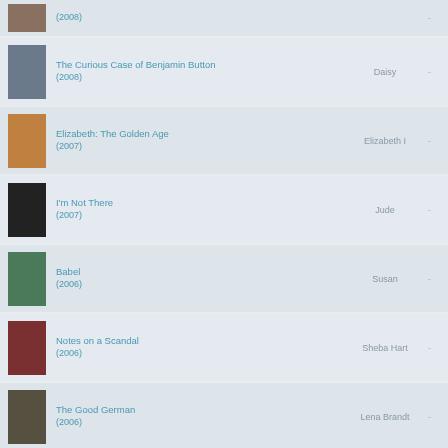(2008)
The Curious Case of Benjamin Button (2008) — Daisy
Elizabeth: The Golden Age (2007) — Elizabeth I
I'm Not There (2007) — Jude
Babel (2006) — Susan
Notes on a Scandal (2006) — Sheba Hart
The Good German (2006) — Lena Brandt
Little Fish